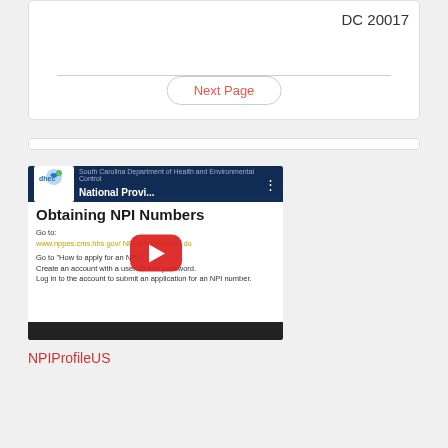DC 20017
Next Page
[Figure (screenshot): YouTube video thumbnail for 'National Provi...' showing DHEC (South Carolina Department of Health and Environmental Control) logo, slide titled 'Obtaining NPI Numbers' with Go to website link, play button overlay, and video controls bar.]
NPIProfileUS